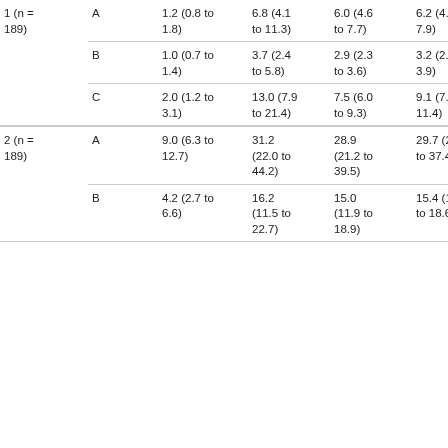| Group | Subgroup | Col3 | Col4 | Col5 | Col6 |
| --- | --- | --- | --- | --- | --- |
| 1 (n = 189) | A | 1.2 (0.8 to 1.8) | 6.8 (4.1 to 11.3) | 6.0 (4.6 to 7.7) | 6.2 (4.9 to 7.9) |
|  | B | 1.0 (0.7 to 1.4) | 3.7 (2.4 to 5.8) | 2.9 (2.3 to 3.6) | 3.2 (2.5 to 3.9) |
|  | C | 2.0 (1.2 to 3.1) | 13.0 (7.9 to 21.4) | 7.5 (6.0 to 9.3) | 9.1 (7.3 to 11.4) |
| 2 (n = 189) | A | 9.0 (6.3 to 12.7) | 31.2 (22.0 to 44.2) | 28.9 (21.2 to 39.5) | 29.7 (23.6 to 37.4) |
|  | B | 4.2 (2.7 to 6.6) | 16.2 (11.5 to 22.7) | 15.0 (11.9 to 18.9) | 15.4 (12.8 to 18.6) |